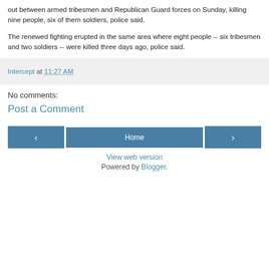out between armed tribesmen and Republican Guard forces on Sunday, killing nine people, six of them soldiers, police said.
The renewed fighting erupted in the same area where eight people -- six tribesmen and two soldiers -- were killed three days ago, police said.
Intercept at 11:27 AM
No comments:
Post a Comment
‹  Home  ›
View web version
Powered by Blogger.